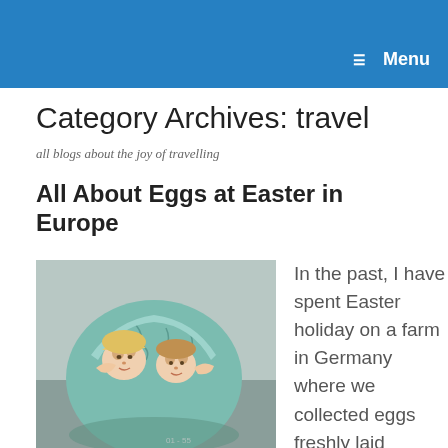Menu
Category Archives: travel
all blogs about the joy of travelling
All About Eggs at Easter in Europe
[Figure (photo): Two young children peeking out from inside a large cracked teal/green Easter egg prop]
In the past, I have spent Easter holiday on a farm in Germany where we collected eggs freshly laid